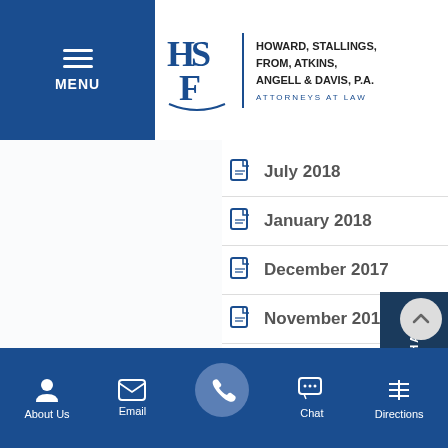[Figure (logo): Howard Stallings From Atkins Angell & Davis P.A. Attorneys at Law logo with HSF monogram]
July 2018
January 2018
December 2017
November 2017
October 2017
September 2017
August 2017
June 2017
About Us  Email  Chat  Directions